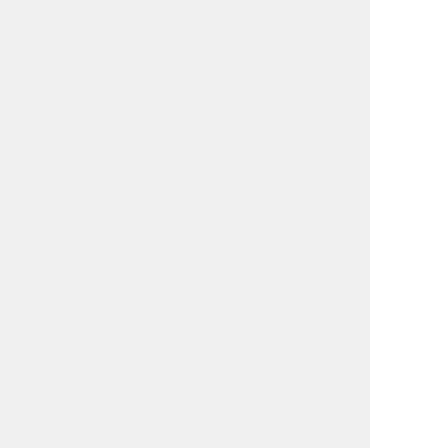| Date | Source | Title |
| --- | --- | --- |
| 20160802 | rt.com | Who does the Kremlin want to win: Clinton or Trump? 🔗 |
| 20160727 | spiegel.de | Türkei nach dem Putsch: Erdogans Flirt mit Putin provoziert die Nato 🔗 |
| 20160725 | freebeacon.com | Putin's Sinister Role in the Failed Turkish Coup - Analysis: Pulling Erdogan from Western Orbit is a Russian Objective 🔗 |
| 20160708 | spiegel.de | Russland und die Nato: Putin sammelt Feinde 🔗 |
| 20160629 | spiegel.de | Putin an Deutscher Schule in Moskau: Russische… |